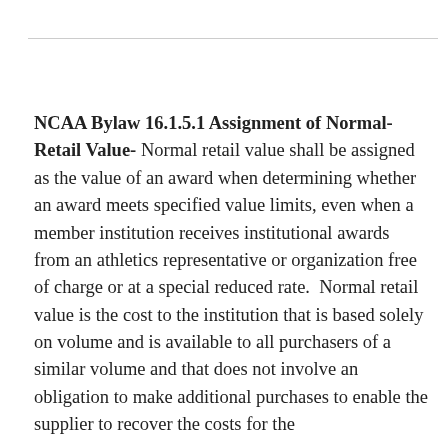NCAA Bylaw 16.1.5.1 Assignment of Normal-Retail Value- Normal retail value shall be assigned as the value of an award when determining whether an award meets specified value limits, even when a member institution receives institutional awards from an athletics representative or organization free of charge or at a special reduced rate.  Normal retail value is the cost to the institution that is based solely on volume and is available to all purchasers of a similar volume and that does not involve an obligation to make additional purchases to enable the supplier to recover the costs for the